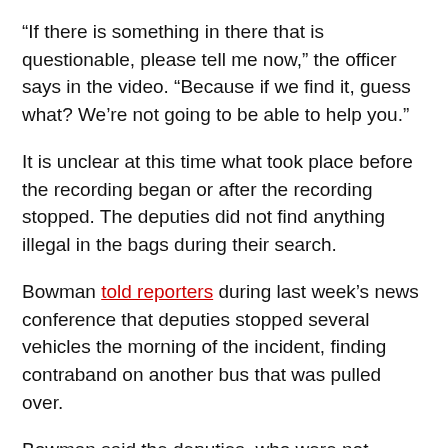“If there is something in there that is questionable, please tell me now,” the officer says in the video. “Because if we find it, guess what? We’re not going to be able to help you.”
It is unclear at this time what took place before the recording began or after the recording stopped. The deputies did not find anything illegal in the bags during their search.
Bowman told reporters during last week’s news conference that deputies stopped several vehicles the morning of the incident, finding contraband on another bus that was pulled over.
Bowman said the deputies, who were not identified during the news conference, did not know the race or gender of those inside the bus when it was pulled over.
On Wednesday, Delaware State University filed an